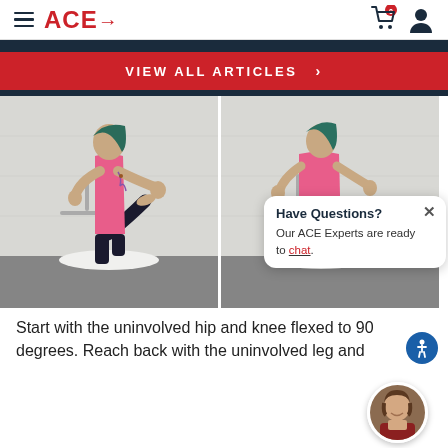ACE→ (navigation bar with cart and user icons)
VIEW ALL ARTICLES >
[Figure (photo): Woman facing white brick wall with hands pressed against it, one knee raised, standing on foam roller, pink tank top and black pants with tattoos]
[Figure (photo): Same woman from behind, leg raised back, standing on foam roller against white brick wall]
Have Questions? Our ACE Experts are ready to chat.
Start with the uninvolved hip and knee flexed to 90 degrees. Reach back with the uninvolved leg and